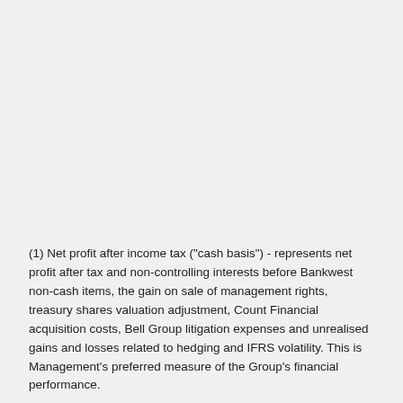(1) Net profit after income tax ("cash basis") - represents net profit after tax and non-controlling interests before Bankwest non-cash items, the gain on sale of management rights, treasury shares valuation adjustment, Count Financial acquisition costs, Bell Group litigation expenses and unrealised gains and losses related to hedging and IFRS volatility. This is Management's preferred measure of the Group's financial performance.
(2) Net profit after income tax ("statutory basis") - represents net profit